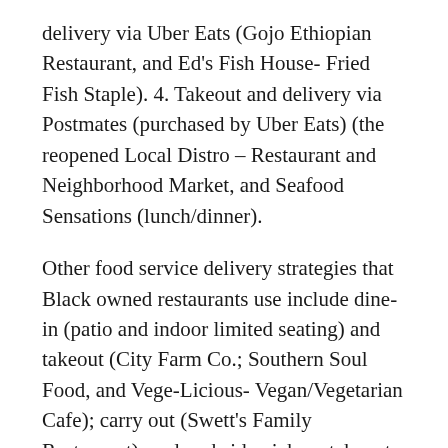delivery via Uber Eats (Gojo Ethiopian Restaurant, and Ed's Fish House- Fried Fish Staple). 4. Takeout and delivery via Postmates (purchased by Uber Eats) (the reopened Local Distro – Restaurant and Neighborhood Market, and Seafood Sensations (lunch/dinner).
Other food service delivery strategies that Black owned restaurants use include dine-in (patio and indoor limited seating) and takeout (City Farm Co.; Southern Soul Food, and Vege-Licious- Vegan/Vegetarian Cafe); carry out (Swett's Family Restaurant), and curbside pickup, takeout, and delivery (Big Shake's Nashville Hot Chicken (lunch/dinner/family-friendly); Cal's Country Kitchen; Gojo Ethiopian Restaurant; HiFi Cookies, and Prince's Hot Chicken – (lunch/dinner/Original Hot Chicken Creators).